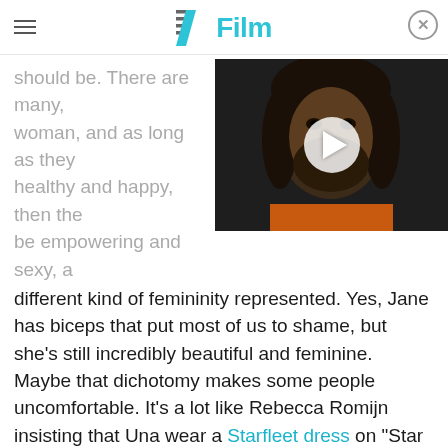/Film
[Figure (screenshot): Video thumbnail showing a man with long dark hair and beard, with a white play button overlay]
should be. There are many, woman, and as long as they healthy and happy, then the be empowering and sexy, a different kind of femininity represented. Yes, Jane has biceps that put most of us to shame, but she's still incredibly beautiful and feminine. Maybe that dichotomy makes some people uncomfortable. It's a lot like Rebecca Romijn insisting that Una wear a Starfleet dress on "Star Trek: Strange New Worlds" while doing action scenes, because they're showing little girls everywhere that femininity is what you make of it. Representation is powerful, and having role models with varying body types will help kids